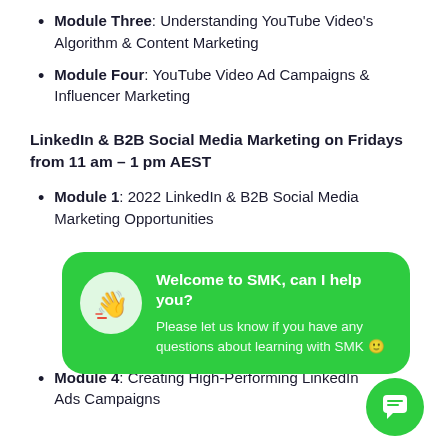Module Three: Understanding YouTube Video's Algorithm & Content Marketing
Module Four: YouTube Video Ad Campaigns & Influencer Marketing
LinkedIn & B2B Social Media Marketing on Fridays from 11 am – 1 pm AEST
Module 1: 2022 LinkedIn & B2B Social Media Marketing Opportunities
[Figure (screenshot): Green chat popup widget with waving hand emoji icon and text: Welcome to SMK, can I help you? Please let us know if you have any questions about learning with SMK 🙂]
Module 4: Creating High-Performing LinkedIn Ads Campaigns